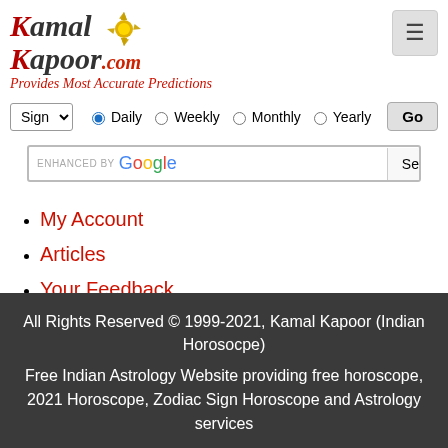KamalKapoor.com — Provides Most Accurate Predictions
[Figure (logo): KamalKapoor.com logo with sunburst graphic and tagline 'Provides Most Accurate Predictions']
My Account
Articles
Your Feedback
All Rights Reserved © 1999-2021, Kamal Kapoor (Indian Horosocpe)
Free Indian Astrology Website providing free horoscope, 2021 Horoscope, Zodiac Sign Horoscope and Astrology services